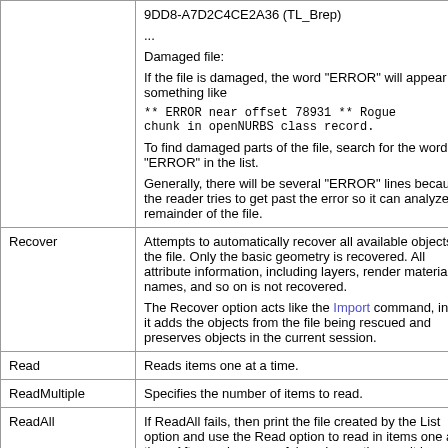| Option | Description |
| --- | --- |
|  | 9DD8-A7D2C4CE2A36 (TL_Brep)
...
Damaged file:
If the file is damaged, the word "ERROR" will appear something like
** ERROR near offset 78931 ** Rogue chunk in openNURBS class record.
To find damaged parts of the file, search for the word "ERROR" in the list.
Generally, there will be several "ERROR" lines because the reader tries to get past the error so it can analyze the remainder of the file. |
| Recover | Attempts to automatically recover all available objects in the file. Only the basic geometry is recovered. All attribute information, including layers, render materials, names, and so on is not recovered.
The Recover option acts like the Import command, in that it adds the objects from the file being rescued and preserves objects in the current session. |
| Read | Reads items one at a time. |
| ReadMultiple | Specifies the number of items to read. |
| ReadAll | If ReadAll fails, then print the file created by the List option and use the Read option to read in items one at a time. After each successful read save the result in a new 3dm file with a different name (so you do not |